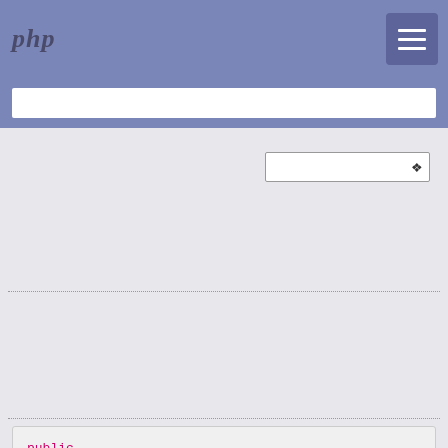php
[Figure (screenshot): Search bar input field in the PHP documentation header navigation area]
[Figure (screenshot): Dropdown selector widget with chevron arrow]
public DOMImplementation::createDocumentType(string
[Figure (screenshot): Code block showing PHP function signature: public DOMImplementation::createDocumentType(string]